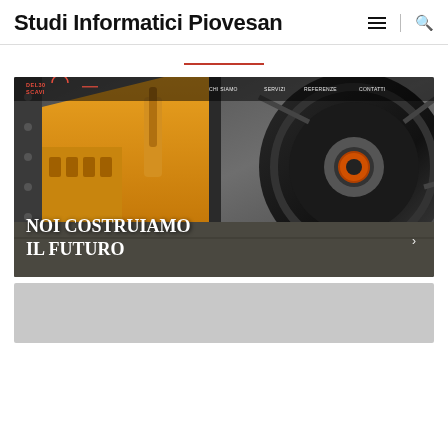Studi Informatici Piovesan
[Figure (screenshot): Screenshot of a website called Del 30 Scavi showing a construction excavator and wheel loader with the text 'NOI COSTRUIAMO IL FUTURO' overlaid on a dark photo. The site has a navigation bar with links: CHI SIAMO, SERVIZI, REFERENZE, CONTATTI.]
[Figure (other): Gray placeholder rectangle at the bottom of the page]